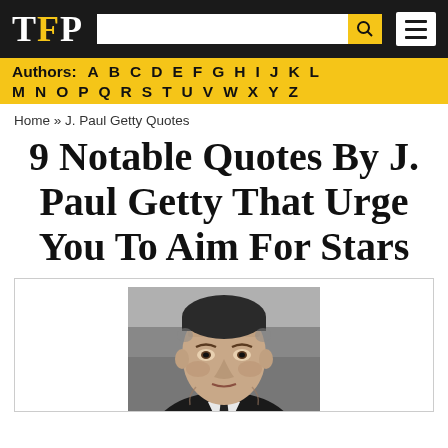TFP
Authors: A B C D E F G H I J K L M N O P Q R S T U V W X Y Z
Home » J. Paul Getty Quotes
9 Notable Quotes By J. Paul Getty That Urge You To Aim For Stars
[Figure (photo): Black and white photograph of J. Paul Getty, an elderly man in a suit, looking directly at the camera with a serious expression.]